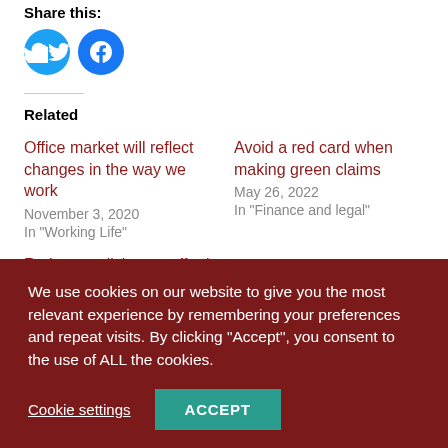Share this:
[Figure (illustration): Twitter and Facebook social share circular icon buttons]
Related
Office market will reflect changes in the way we work
November 3, 2020
In "Working Life"
Avoid a red card when making green claims
May 26, 2022
In "Finance and legal"
Retirement living on offer in Scone and Kinross
We use cookies on our website to give you the most relevant experience by remembering your preferences and repeat visits. By clicking “Accept”, you consent to the use of ALL the cookies.
Cookie settings
ACCEPT